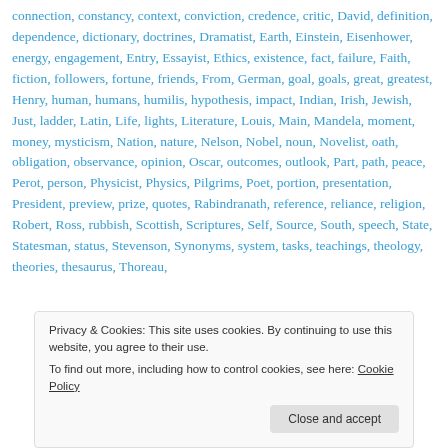connection, constancy, context, conviction, credence, critic, David, definition, dependence, dictionary, doctrines, Dramatist, Earth, Einstein, Eisenhower, energy, engagement, Entry, Essayist, Ethics, existence, fact, failure, Faith, fiction, followers, fortune, friends, From, German, goal, goals, great, greatest, Henry, human, humans, humilis, hypothesis, impact, Indian, Irish, Jewish, Just, ladder, Latin, Life, lights, Literature, Louis, Main, Mandela, moment, money, mysticism, Nation, nature, Nelson, Nobel, noun, Novelist, oath, obligation, observance, opinion, Oscar, outcomes, outlook, Part, path, peace, Perot, person, Physicist, Physics, Pilgrims, Poet, portion, presentation, President, preview, prize, quotes, Rabindranath, reference, reliance, religion, Robert, Ross, rubbish, Scottish, Scriptures, Self, Source, South, speech, State, Statesman, status, Stevenson, Synonyms, system, tasks, teachings, theology, theories, thesaurus, Thoreau,
Privacy & Cookies: This site uses cookies. By continuing to use this website, you agree to their use. To find out more, including how to control cookies, see here: Cookie Policy